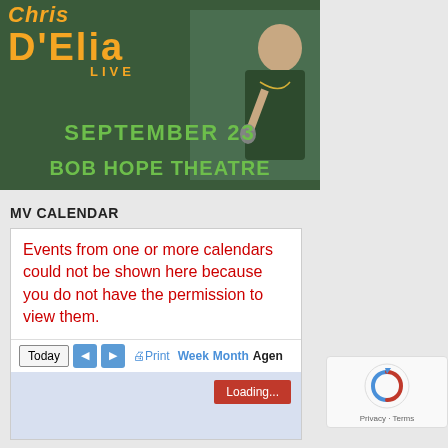[Figure (photo): Event poster for Chris D'Elia LIVE at Bob Hope Theatre on September 23. Dark green background with orange text for name, green text for date and venue. Comic/comedian shown holding microphone.]
MV CALENDAR
[Figure (screenshot): Google Calendar widget screenshot showing error message in red: 'Events from one or more calendars could not be shown here because you do not have the permission to view them.' with toolbar buttons: Today, back/forward arrows, Print, Week, Month, Agenda, and a red Loading... button. Calendar body area is light blue.]
[Figure (other): reCAPTCHA checkbox widget showing circular arrow icon and Privacy/Terms text]